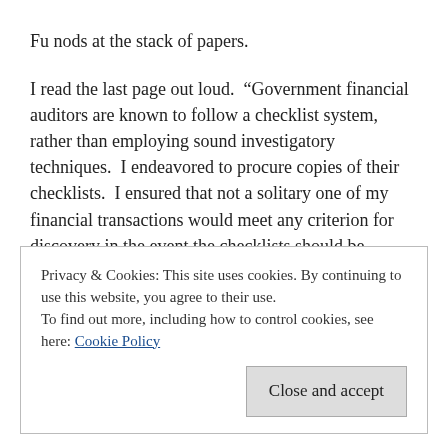Fu nods at the stack of papers.
I read the last page out loud.  “Government financial auditors are known to follow a checklist system, rather than employing sound investigatory techniques.  I endeavored to procure copies of their checklists.  I ensured that not a solitary one of my financial transactions would meet any criterion for discovery in the event the checklists should be followed.  You can trust my judgement in this matter.  Fu Manchu.”
… and that’s the story of how the Four Apes ended up on the road in an eighteen-wheeler.  At the time, we didn’t know the government was testing the latest generation of covert hunter-killer drone
Privacy & Cookies: This site uses cookies. By continuing to use this website, you agree to their use.
To find out more, including how to control cookies, see here: Cookie Policy
Close and accept